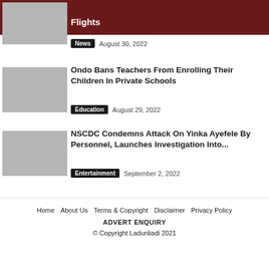Flights
News  August 30, 2022
Ondo Bans Teachers From Enrolling Their Children In Private Schools
Education  August 29, 2022
NSCDC Condemns Attack On Yinka Ayefele By Personnel, Launches Investigation Into...
Entertainment  September 2, 2022
Home  About Us  Terms & Copyright  Disclaimer  Privacy Policy  ADVERT ENQUIRY  © Copyright Ladunliadi 2021